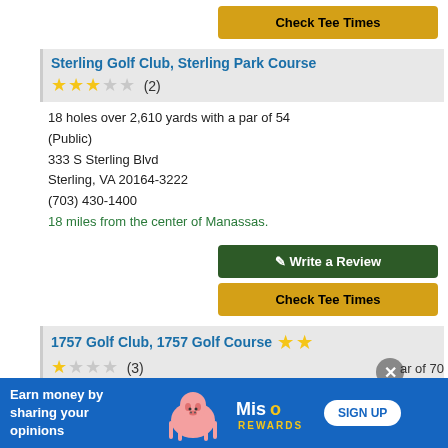[Figure (other): Yellow 'Check Tee Times' button at top]
Sterling Golf Club, Sterling Park Course ★★★☆☆ (2)
18 holes over 2,610 yards with a par of 54 (Public)
333 S Sterling Blvd
Sterling, VA 20164-3222
(703) 430-1400
18 miles from the center of Manassas.
[Figure (other): Green 'Write a Review' button]
[Figure (other): Yellow 'Check Tee Times' button]
1757 Golf Club, 1757 Golf Course ★★☆ (3)
[Figure (other): Advertisement banner: Earn money by sharing your opinions - MisoRewards SIGN UP]
ar of 70